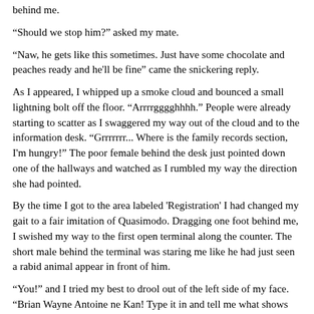behind me.
"Should we stop him?" asked my mate.
"Naw, he gets like this sometimes. Just have some chocolate and peaches ready and he'll be fine" came the snickering reply.
As I appeared, I whipped up a smoke cloud and bounced a small lightning bolt off the floor. "Arrrrgggghhhh." People were already starting to scatter as I swaggered my way out of the cloud and to the information desk. "Grrrrrrr... Where is the family records section, I'm hungry!" The poor female behind the desk just pointed down one of the hallways and watched as I rumbled my way the direction she had pointed.
By the time I got to the area labeled 'Registration' I had changed my gait to a fair imitation of Quasimodo. Dragging one foot behind me, I swished my way to the first open terminal along the counter. The short male behind the terminal was staring me like he had just seen a rabid animal appear in front of him.
"You!" and I tried my best to drool out of the left side of my face. "Brian Wayne Antoine ne Kan! Type it in and tell me what shows up!"
A few key clicks later, and a small argument over how it was